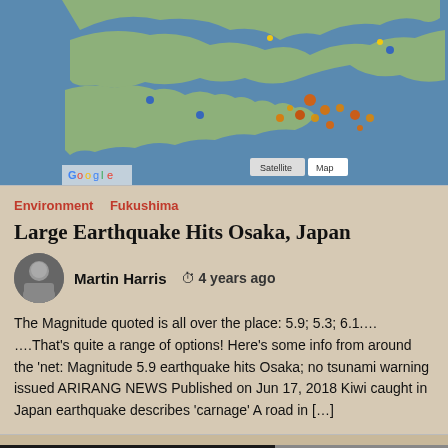[Figure (screenshot): Screenshot of an earthquake tracking map showing Japan with earthquake markers, alongside a sidebar UI with controls including Magnitude Range, Depth Range, Apply button, Earthquake Count button, and other map options.]
Environment   Fukushima
Large Earthquake Hits Osaka, Japan
Martin Harris   4 years ago
The Magnitude quoted is all over the place: 5.9; 5.3; 6.1.… ….That's quite a range of options! Here's some info from around the 'net: Magnitude 5.9 earthquake hits Osaka; no tsunami warning issued ARIRANG NEWS Published on Jun 17, 2018 Kiwi caught in Japan earthquake describes 'carnage' A road in […]
[Figure (photo): Photo of a person (resembling Queen Elizabeth II) sitting on the Iron Throne from Game of Thrones, with another gray section to the right.]